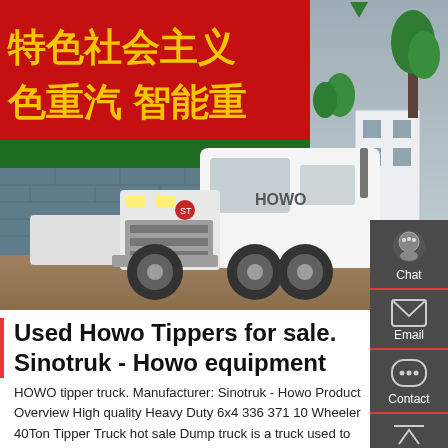[Figure (photo): A white HOWO tractor truck parked in front of a red banner with Chinese characters reading socialist ideology slogans and Sinotruk Howo branding. Stone wall in the background, trees visible, overcast sky.]
Used Howo Tippers for sale. Sinotruk - Howo equipment
HOWO tipper truck. Manufacturer: Sinotruk - Howo Product Overview High quality Heavy Duty 6x4 336 371 10 Wheeler 40Ton Tipper Truck hot sale Dump truck is a truck used to convey loose materials like sands, pebbles, soils,building materials, coals, ores, crops.